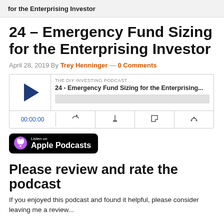for the Enterprising Investor
24 – Emergency Fund Sizing for the Enterprising Investor
April 28, 2019 By Trey Henninger — 0 Comments
[Figure (screenshot): Podcast player widget for episode '24 - Emergency Fund Sizing for the Enterprising...' from THE DIY INVESTING PODCAST. Shows play button, progress bar, time (00:00:00), and control icons.]
[Figure (logo): Listen on Apple Podcasts badge]
Please review and rate the podcast
If you enjoyed this podcast and found it helpful, please consider leaving me a review...